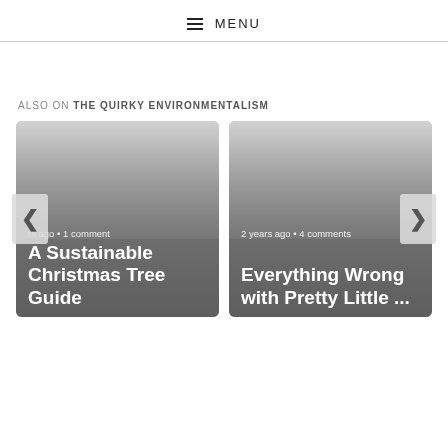≡ MENU
ALSO ON THE QUIRKY ENVIRONMENTALISM
[Figure (screenshot): Two article cards side by side. Left card: '...s ago • 1 comment' and title 'A Sustainable Christmas Tree Guide'. Right card: '2 years ago • 4 comments' and title 'Everything Wrong with Pretty Little ...'. Navigation arrows on left and right.]